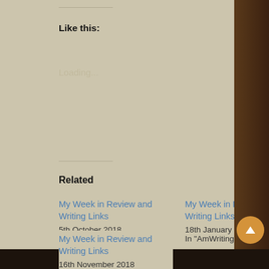Like this:
Loading...
Related
My Week in Review and Writing Links
5th October 2018
In "AmWriting"
My Week in Review and Writing Links
18th January 2019
In "AmWriting"
My Week in Review and Writing Links
16th November 2018
In "AmWriting"